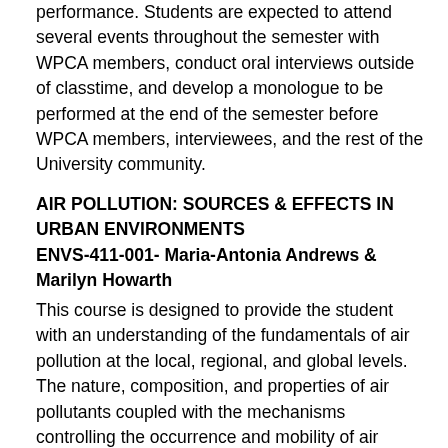performance. Students are expected to attend several events throughout the semester with WPCA members, conduct oral interviews outside of classtime, and develop a monologue to be performed at the end of the semester before WPCA members, interviewees, and the rest of the University community.
AIR POLLUTION: SOURCES & EFFECTS IN URBAN ENVIRONMENTS
ENVS-411-001- Maria-Antonia Andrews & Marilyn Howarth
This course is designed to provide the student with an understanding of the fundamentals of air pollution at the local, regional, and global levels. The nature, composition, and properties of air pollutants coupled with the mechanisms controlling the occurrence and mobility of air pollutants in the atmosphere will also be studied. The course will focus on Philadelphia's air quality and how air pollutants have an adverse effect